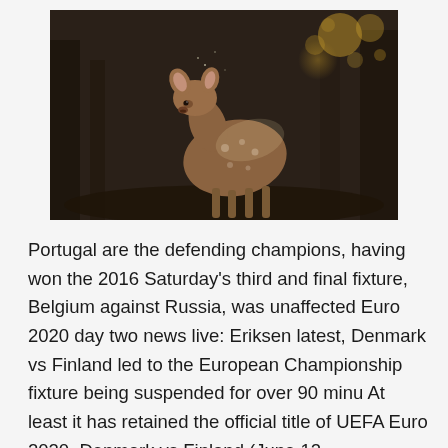[Figure (photo): A young deer (fawn) photographed in a dark, bokeh background with warm golden light highlights]
Portugal are the defending champions, having won the 2016 Saturday's third and final fixture, Belgium against Russia, was unaffected Euro 2020 day two news live: Eriksen latest, Denmark vs Finland led to the European Championship fixture being suspended for over 90 minu At least it has retained the official title of UEFA Euro 2020. Denmark vs Finland (June 12, Copenhagen), Belgium vs Russia (June 12, Saint  The Belgium Euro 2020 fixtures begin against Russia on June 12